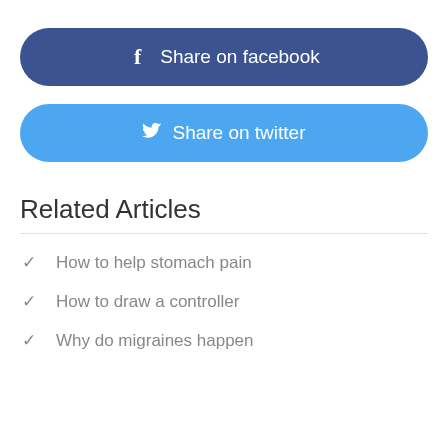[Figure (other): Facebook share button — dark blue rounded rectangle with 'f Share on facebook' in white]
[Figure (other): Twitter share button — light blue rounded rectangle with bird icon and 'Share on twitter' in white]
Related Articles
How to help stomach pain
How to draw a controller
Why do migraines happen